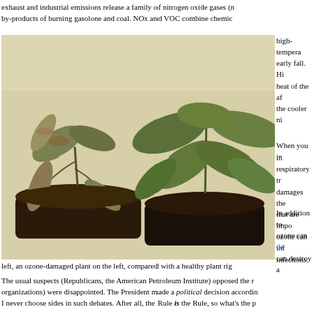exhaust and industrial emissions release a family of nitrogen oxide gases (NOx) as by-products of burning gasolone and coal. NOx and VOC combine chemic...
high-tempera... early fall. Hi... heat of the af... the cooler ni...
[Figure (photo): Two potted plants side by side: the left plant appears damaged/wilted with brown discoloration on leaves, the right plant appears healthy with full green leaves. Black pots on a light surface.]
When you in... respiratory tr... damages the... that are impo... ozone can inf... infections.
In addition to... ozone can da... can destroy a...
left, an ozone-damaged plant on the left, compared with a healthy plant rig...
The usual suspects (Republicans, the American Petroleum Institute) opposed the r... organizations) were disappointed. The President made a political decision accordin...
I never choose sides in such debates. After all, the Rule is the Rule, so what's the p... according to some political preference. My view is that protecting the environmen... environment) versus Death (endless growth) issue. I am pro-Life (in this sense) an...
If we were living in a world where the Rule didn't necessarily apply, protecting the... In this ozone case, the environmental issue is relatively minor and easily remedied... economic prospects remain dismal. (This is tantamount to forever as far as I'm co... easily remedied, such as anthropogenic destruction of the oceans and climate chan... Notoriously, the "precautionary principle" ...